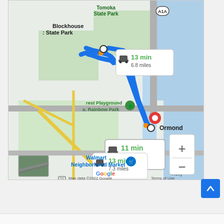[Figure (map): Google Maps screenshot showing driving routes from Blockhouse Creek State Park area to Ormond, Florida. Three route options are displayed: 13 min / 6.8 miles (top right callout), 11 min / 6.3 miles (selected route, middle callout), and 13 min / 7.3 miles (bottom callout). A blue route line runs diagonally. Landmarks include Tomoka State Park, A1A highway, Forest Playground / Rainbow Park, Walmart Neighborhood Market, and Holly area. Map data ©2022 Google. Zoom controls (+/-) visible. Street view thumbnail in lower left.]